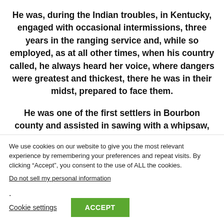He was, during the Indian troubles, in Kentucky, engaged with occasional intermissions, three years in the ranging service and, while so employed, as at all other times, when his country called, he always heard her voice, where dangers were greatest and thickest, there he was in their midst, prepared to face them.
He was one of the first settlers in Bourbon county and assisted in sawing with a whipsaw, the planks, used in constructing the first permanent framed building, there erected.
We use cookies on our website to give you the most relevant experience by remembering your preferences and repeat visits. By clicking “Accept”, you consent to the use of ALL the cookies.
Do not sell my personal information.
Cookie settings
ACCEPT